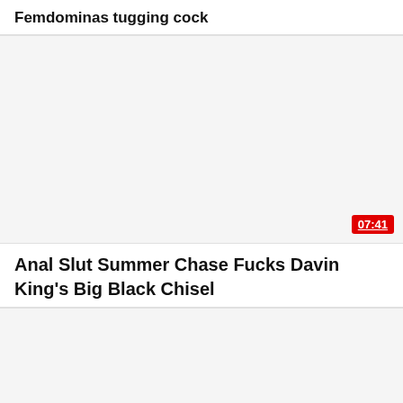Femdominas tugging cock
[Figure (photo): Video thumbnail placeholder, white/light gray background]
07:41
Anal Slut Summer Chase Fucks Davin King's Big Black Chisel
[Figure (photo): Second video thumbnail placeholder, light gray background]